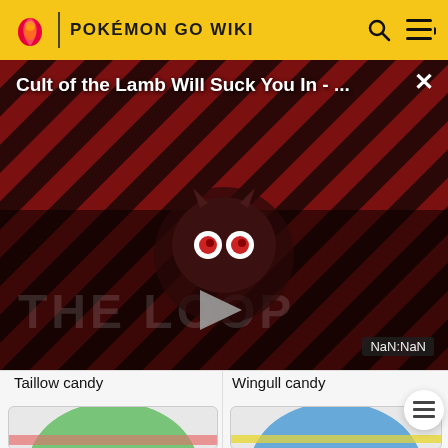POKÉMON GO WIKI
[Figure (screenshot): Video overlay for 'Cult of the Lamb Will Suck You In - ...' with THE LOOP branding, a play button in the center, a cartoon character, and NaN:NaN timestamp. Close button X in top right.]
Taillow candy
Wingull candy
[Figure (photo): Green candy egg with pink stripe - Taillow candy]
[Figure (photo): Blue candy egg with yellow stripe - Wingull candy]